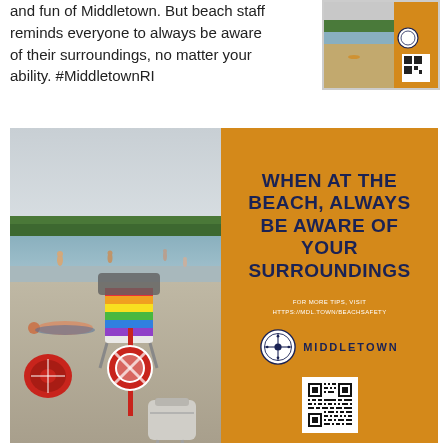and fun of Middletown. But beach staff reminds everyone to always be aware of their surroundings, no matter your ability. #MiddletownRI
[Figure (photo): Small thumbnail image of beach scene with orange background and QR code]
[Figure (photo): Composite image: left half shows beach photo with people, lifeguard equipment (red life preserver ring, rainbow beach chair), a person lying on sand, and a backpack in foreground; right half is an orange panel with bold navy text 'WHEN AT THE BEACH, ALWAYS BE AWARE OF YOUR SURROUNDINGS', Middletown logo, and QR code]